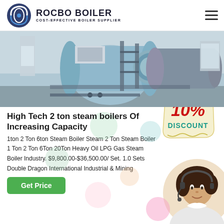ROCBO BOILER — COST-EFFECTIVE BOILER SUPPLIER
[Figure (photo): Industrial boiler facility showing large horizontal cylindrical steam boilers in a warehouse setting]
High Tech 2 ton steam boilers Of Increasing Capacity
[Figure (infographic): 10% DISCOUNT badge in red and teal bold text on cream background with decorative border]
1ton 2 Ton 6ton Steam Boiler Steam 2 Ton Steam Boiler 1 Ton 2 Ton 6Ton 20Ton Heavy Oil LPG Gas Steam Boiler Industry. $9,800.00-$36,500.00/ Set. 1.0 Sets Double Dragon International Industrial & Mining
[Figure (photo): Female customer service representative wearing headset, smiling]
Get Price